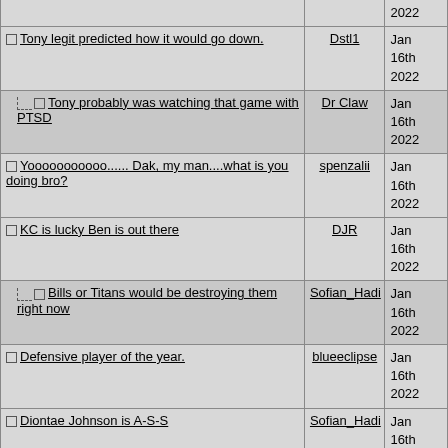| Post | User | Date |
| --- | --- | --- |
| Tony legit predicted how it would go down. | Dstl1 | Jan 16th 2022 |
| [reply] Tony probably was watching that game with PTSD | Dr Claw | Jan 16th 2022 |
| Yooooooooooo...... Dak, my man....what is you doing bro? | spenzalii | Jan 16th 2022 |
| KC is lucky Ben is out there | DJR | Jan 16th 2022 |
| [reply] Bills or Titans would be destroying them right now | Sofian_Hadi | Jan 16th 2022 |
| Defensive player of the year. | blueeclipse | Jan 16th 2022 |
| Diontae Johnson is A-S-S | Sofian_Hadi | Jan 16th 2022 |
| [reply] He's having a rough one, so far...but he's a good receiver | Dstl1 | Jan 16th 2022 |
| [reply2] since he complained about the pro bowl snub.. like 8 drops | legsdiamond | Jan 16th 2022 |
| [reply3] No doubt, he's in a bad way... | Dstl1 | Jan 16th 2022 |